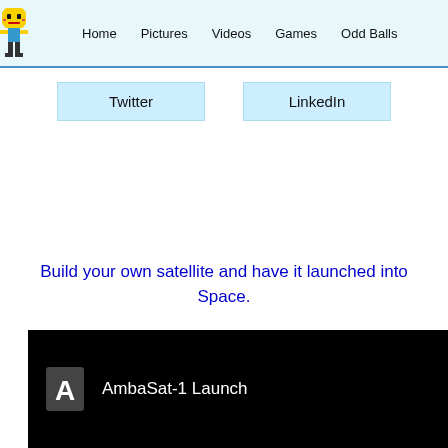Home  Pictures  Videos  Games  Odd Balls
[Figure (illustration): Pixel art mascot character — yellow smiley face with arms and legs]
Twitter
LinkedIn
Build your own satellite and have it launched into Space.
[Figure (screenshot): Dark video thumbnail showing letter A icon and text 'AmbaSat-1 Launch']